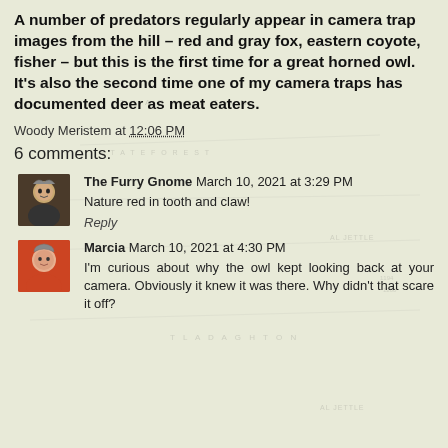A number of predators regularly appear in camera trap images from the hill – red and gray fox, eastern coyote, fisher – but this is the first time for a great horned owl. It's also the second time one of my camera traps has documented deer as meat eaters.
Woody Meristem at 12:06 PM
6 comments:
The Furry Gnome March 10, 2021 at 3:29 PM
Nature red in tooth and claw!
Reply
Marcia March 10, 2021 at 4:30 PM
I'm curious about why the owl kept looking back at your camera. Obviously it knew it was there. Why didn't that scare it off?